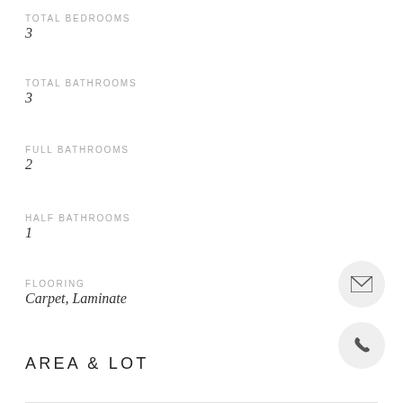TOTAL BEDROOMS
3
TOTAL BATHROOMS
3
FULL BATHROOMS
2
HALF BATHROOMS
1
FLOORING
Carpet, Laminate
AREA & LOT